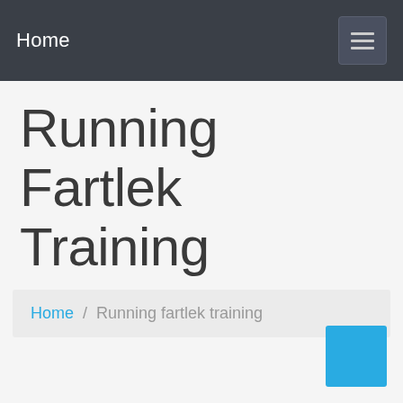Home
Running Fartlek Training
Home / Running fartlek training